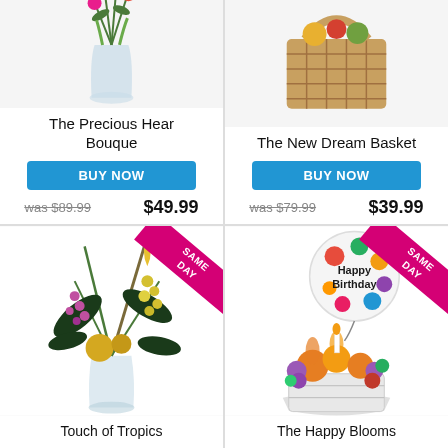[Figure (photo): Flower bouquet in glass vase - The Precious Heart Bouque]
The Precious Hear Bouque
BUY NOW
was $89.99   $49.99
[Figure (photo): Gift basket - The New Dream Basket]
The New Dream Basket
BUY NOW
was $79.99   $39.99
[Figure (photo): Touch of Tropics flower arrangement with SAME DAY ribbon]
Touch of Tropics
[Figure (photo): The Happy Blooms birthday basket with balloon and SAME DAY ribbon]
The Happy Blooms